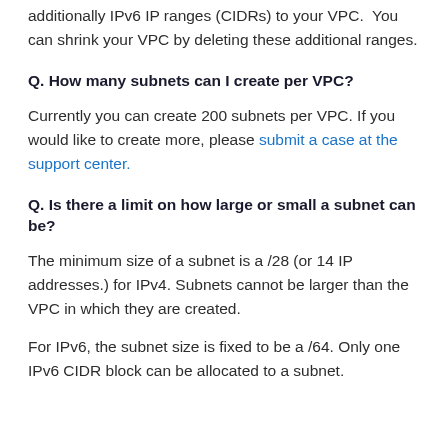additionally IPv6 IP ranges (CIDRs) to your VPC. You can shrink your VPC by deleting these additional ranges.
Q. How many subnets can I create per VPC?
Currently you can create 200 subnets per VPC. If you would like to create more, please submit a case at the support center.
Q. Is there a limit on how large or small a subnet can be?
The minimum size of a subnet is a /28 (or 14 IP addresses.) for IPv4. Subnets cannot be larger than the VPC in which they are created.
For IPv6, the subnet size is fixed to be a /64. Only one IPv6 CIDR block can be allocated to a subnet.